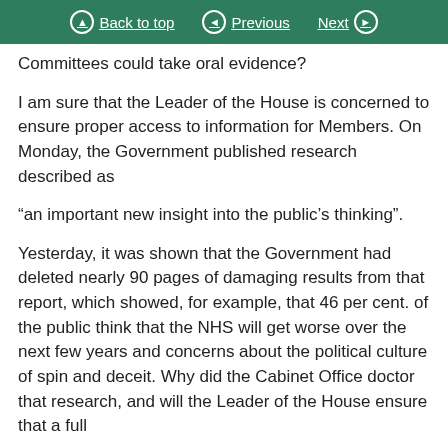Back to top  Previous  Next
Committees could take oral evidence?
I am sure that the Leader of the House is concerned to ensure proper access to information for Members. On Monday, the Government published research described as
“an important new insight into the public’s thinking”.
Yesterday, it was shown that the Government had deleted nearly 90 pages of damaging results from that report, which showed, for example, that 46 per cent. of the public think that the NHS will get worse over the next few years and concerns about the political culture of spin and deceit. Why did the Cabinet Office doctor that research, and will the Leader of the House ensure that a full